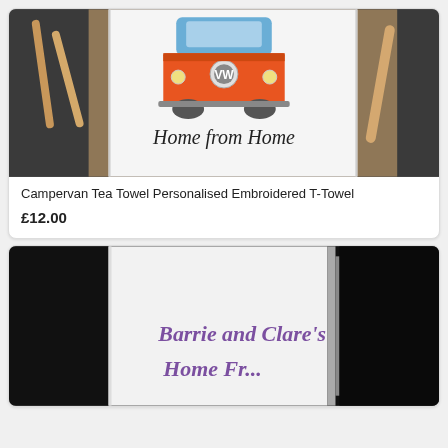[Figure (photo): White tea towel with embroidered VW campervan design and text 'Home from Home', placed on a dark wooden board with wooden kitchen utensils around it.]
Campervan Tea Towel Personalised Embroidered T-Towel
£12.00
[Figure (photo): White tea towel with purple embroidered text 'Barrie and Clare's Home Fr...' (text cut off), hanging against a dark background with a metal frame/rack visible.]